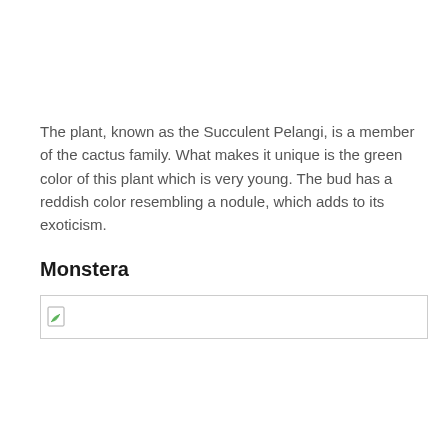The plant, known as the Succulent Pelangi, is a member of the cactus family. What makes it unique is the green color of this plant which is very young. The bud has a reddish color resembling a nodule, which adds to its exoticism.
Monstera
[Figure (photo): Broken/unloaded image placeholder with small broken image icon in top-left corner, bordered box]